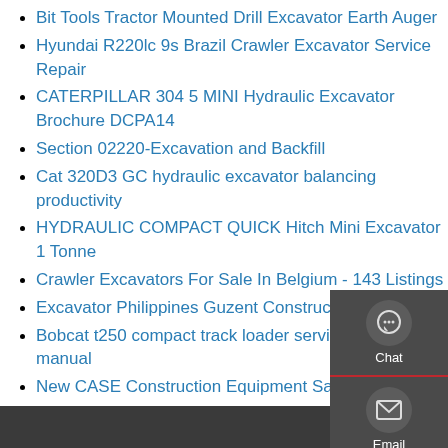Bit Tools Tractor Mounted Drill Excavator Earth Auger
Hyundai R220lc 9s Brazil Crawler Excavator Service Repair
CATERPILLAR 304 5 MINI Hydraulic Excavator Brochure DCPA14
Section 02220-Excavation and Backfill
Cat 320D3 GC hydraulic excavator balancing productivity
HYDRAULIC COMPACT QUICK Hitch Mini Excavator 1 Tonne
Crawler Excavators For Sale In Belgium - 143 Listings
Excavator Philippines Guzent Construction Equipment
Bobcat t250 compact track loader service repair manual
New CASE Construction Equipment Sales Loaders
3017 CR Mini Hydraulic Excavator Cat for Sale - Stowers Cat
CAT - Cab Glass - Backhoes - E and F Series - Safe Harbor
[Figure (infographic): Sidebar widget panel with three contact options: Chat (speech bubble icon), Email (envelope icon), and Contact (message bubble icon), set against a dark gray background with red dividers.]